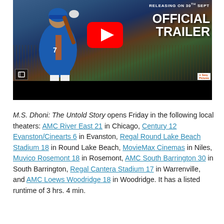[Figure (screenshot): YouTube video thumbnail for M.S. Dhoni: The Untold Story official trailer. Shows a cricket player in blue India jersey mid-swing, with YouTube play button overlay, text 'RELEASING ON 30TH SEPT' and 'OFFICIAL TRAILER' in white on dark background.]
M.S. Dhoni: The Untold Story opens Friday in the following local theaters: AMC River East 21 in Chicago, Century 12 Evanston/Cinearts 6 in Evanston, Regal Round Lake Beach Stadium 18 in Round Lake Beach, MovieMax Cinemas in Niles, Muvico Rosemont 18 in Rosemont, AMC South Barrington 30 in South Barrington, Regal Cantera Stadium 17 in Warrenville, and AMC Loews Woodridge 18 in Woodridge. It has a listed runtime of 3 hrs. 4 min.